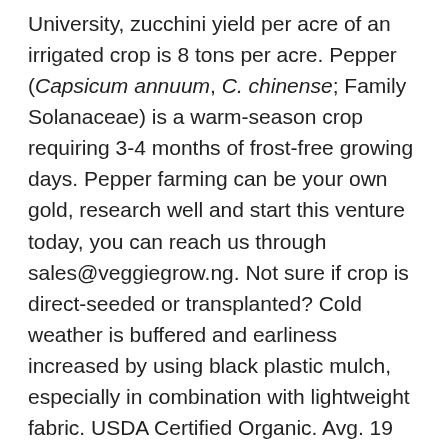University, zucchini yield per acre of an irrigated crop is 8 tons per acre. Pepper (Capsicum annuum, C. chinense; Family Solanaceae) is a warm-season crop requiring 3-4 months of frost-free growing days. Pepper farming can be your own gold, research well and start this venture today, you can reach us through sales@veggiegrow.ng. Not sure if crop is direct-seeded or transplanted? Cold weather is buffered and earliness increased by using black plastic mulch, especially in combination with lightweight fabric. USDA Certified Organic. Avg. 19 plants/Pkt., 750 plants/1,000 seeds, 19,360 seeds per acre of transplants (avg. There are approximately 7,300 acres with an estimated total industry value (farm gate) of $21 million. and J.W. This Hungarian hot wax hybrid produces high yields of uniform fruit. 1 st picking or harvesting is done after 90 days of sowing. It is important to evaluate the productivity levels of selected varieties in your own environment prior to embarking on large scale planting of hot pepper. OMRI (Organic Materials Review Institute) Listed, Field-Grown Pepper Production Guide | Tech Sheet (PDF), How to Grow Great Peppers | Tips for Successful